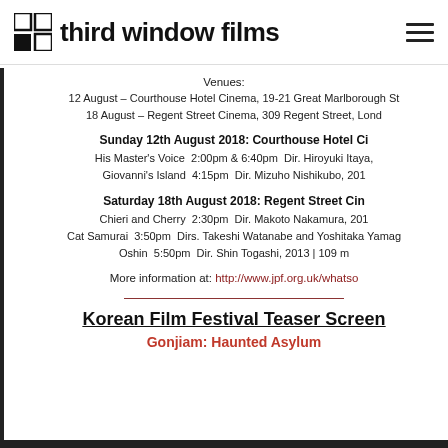third window films
Venues:
12 August – Courthouse Hotel Cinema, 19-21 Great Marlborough St
18 August – Regent Street Cinema, 309 Regent Street, Lond
Sunday 12th August 2018: Courthouse Hotel Ci
His Master's Voice  2:00pm & 6:40pm  Dir. Hiroyuki Itaya,
Giovanni's Island  4:15pm  Dir. Mizuho Nishikubo, 201
Saturday 18th August 2018: Regent Street Cin
Chieri and Cherry  2:30pm  Dir. Makoto Nakamura, 201
Cat Samurai  3:50pm  Dirs. Takeshi Watanabe and Yoshitaka Yamag
Oshin  5:50pm  Dir. Shin Togashi, 2013 | 109 m
More information at: http://www.jpf.org.uk/whatso
Korean Film Festival Teaser Screen
Gonjiam: Haunted Asylum